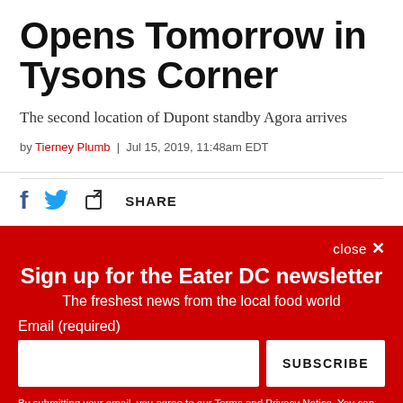Opens Tomorrow in Tysons Corner
The second location of Dupont standby Agora arrives
by Tierney Plumb | Jul 15, 2019, 11:48am EDT
SHARE
Sign up for the Eater DC newsletter
The freshest news from the local food world
Email (required)
SUBSCRIBE
By submitting your email, you agree to our Terms and Privacy Notice. You can opt out at any time. This site is protected by reCAPTCHA and the Google Privacy Policy and Terms of Service apply.